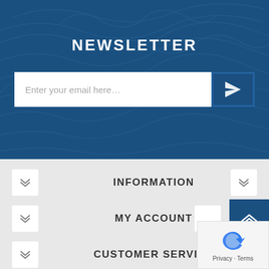NEWSLETTER
Enter your email here...
INFORMATION
MY ACCOUNT
CUSTOMER SERVICE
Privacy · Terms